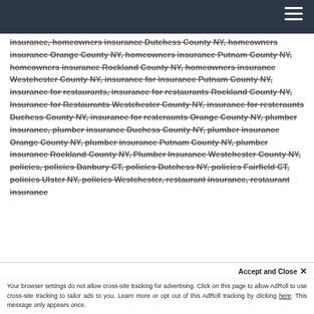insurance, homeowners insurance Dutchess County NY, homeowners insurance Orange County NY, homeowners insurance Putnam County NY, homeowners insurance Rockland County NY, homeowners insurance Westchester County NY, insurance for insurance Putnam County NY, insurance for restaurants, insurance for restaurants Rockland County NY, Insurance for Restaurants Westchester County NY, insurance for resteraunts Duchess County NY, insurance for resteraunts Orange County NY, plumber insurance, plumber insurance Duchess County NY, plumber insurance Orange County NY, plumber insurance Putnam County NY, plumber insurance Rockland County NY, Plumber Insurance Westchester County NY, policies, policies Danbury CT, policies Dutchess NY, policies Fairfield CT, policies Ulster NY, policies Westchester, restaurant insurance, restaurant insurance
Accept and Close ✕
Your browser settings do not allow cross-site tracking for advertising. Click on this page to allow AdRoll to use cross-site tracking to tailor ads to you. Learn more or opt out of this AdRoll tracking by clicking here. This message only appears once.